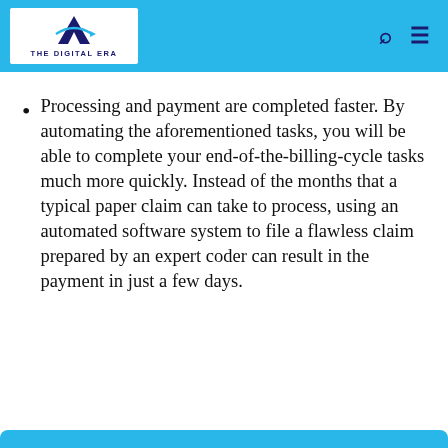THE DIGITAL ERA
Processing and payment are completed faster. By automating the aforementioned tasks, you will be able to complete your end-of-the-billing-cycle tasks much more quickly. Instead of the months that a typical paper claim can take to process, using an automated software system to file a flawless claim prepared by an expert coder can result in the payment in just a few days.